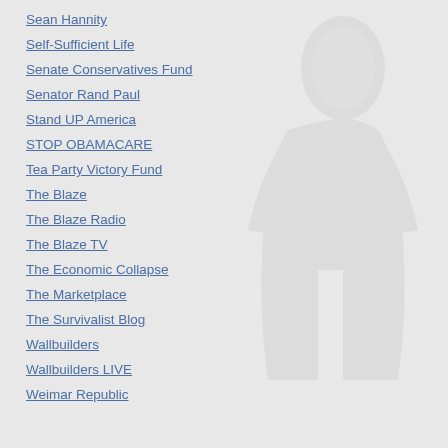Sean Hannity
Self-Sufficient Life
Senate Conservatives Fund
Senator Rand Paul
Stand UP America
STOP OBAMACARE
Tea Party Victory Fund
The Blaze
The Blaze Radio
The Blaze TV
The Economic Collapse
The Marketplace
The Survivalist Blog
Wallbuilders
Wallbuilders LIVE
Weimar Republic